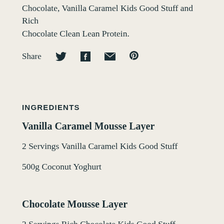Chocolate, Vanilla Caramel Kids Good Stuff and Rich Chocolate Clean Lean Protein.
Share
INGREDIENTS
Vanilla Caramel Mousse Layer
2 Servings Vanilla Caramel Kids Good Stuff
500g Coconut Yoghurt
Chocolate Mousse Layer
2 Servings Rich Chocolate Kids Good Stuff